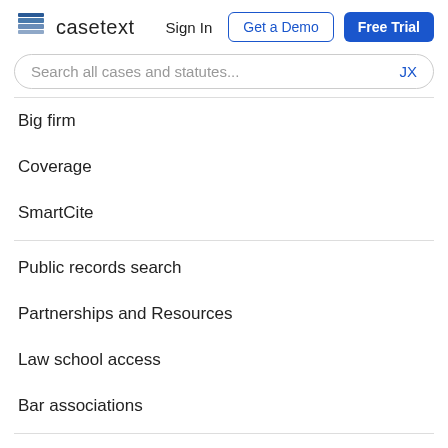[Figure (logo): Casetext logo with stacked pages icon and wordmark]
Search all cases and statutes... JX
Big firm
Coverage
SmartCite
Public records search
Partnerships and Resources
Law school access
Bar associations
About us